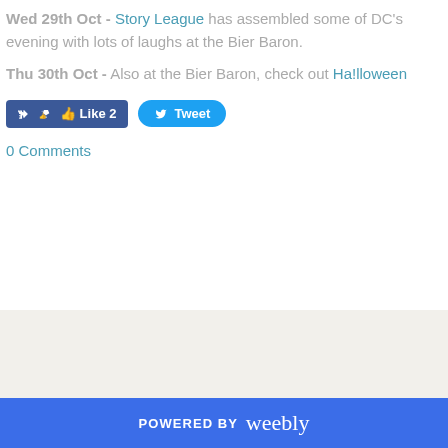Wed 29th Oct - Story League has assembled some of DC's evening with lots of laughs at the Bier Baron.
Thu 30th Oct - Also at the Bier Baron, check out Ha!lloween
[Figure (other): Facebook Like button showing count of 2 and Twitter Tweet button]
0 Comments
POWERED BY weebly